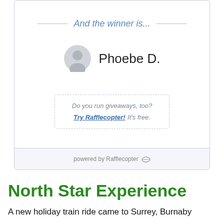[Figure (screenshot): Rafflecopter giveaway widget showing winner announcement. Text 'And the winner is...' with horizontal lines on either side. A grey avatar icon followed by the name 'Phoebe D.' A dashed-border promo box reading 'Do you run giveaways, too? Try Rafflecopter! It's free.' Footer reads 'powered by Rafflecopter' with a logo icon.]
North Star Experience
A new holiday train ride came to Surrey, Burnaby